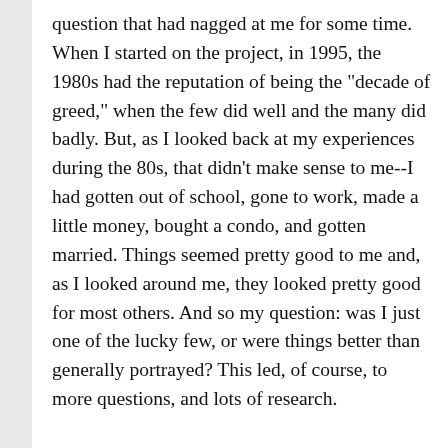question that had nagged at me for some time. When I started on the project, in 1995, the 1980s had the reputation of being the "decade of greed," when the few did well and the many did badly. But, as I looked back at my experiences during the 80s, that didn't make sense to me--I had gotten out of school, gone to work, made a little money, bought a condo, and gotten married. Things seemed pretty good to me and, as I looked around me, they looked pretty good for most others. And so my question: was I just one of the lucky few, or were things better than generally portrayed? This led, of course, to more questions, and lots of research.